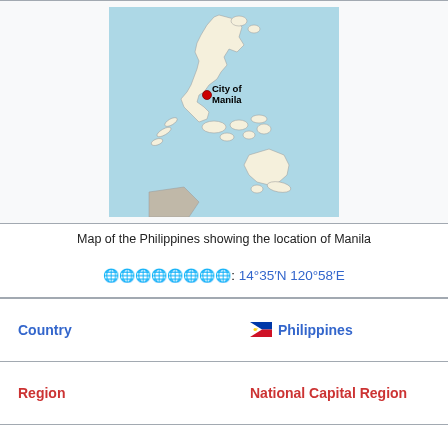[Figure (map): Map of the Philippines showing the location of Manila, with a red dot marker and label 'City of Manila']
Map of the Philippines showing the location of Manila
🌐: 14°35′N 120°58′E
| Country | 🇵🇭 Philippines |
| Region | National Capital Region |